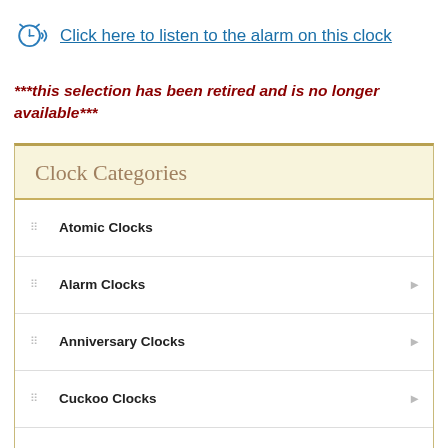Click here to listen to the alarm on this clock
***this selection has been retired and is no longer available***
Clock Categories
Atomic Clocks
Alarm Clocks
Anniversary Clocks
Cuckoo Clocks
Curio Cabinets
Desk Clocks and Table Clocks